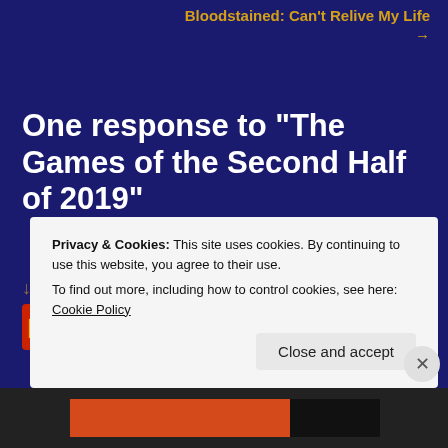Bloodstained: Can't Relive My Life →
One response to “The Games of the Second Half of 2019”
As of August 2020 Games I Would Like To Play Sometime – Hinge Problems
August 10, 2020 at 6:20 am
Privacy & Cookies: This site uses cookies. By continuing to use this website, you agree to their use.
To find out more, including how to control cookies, see here: Cookie Policy
Close and accept